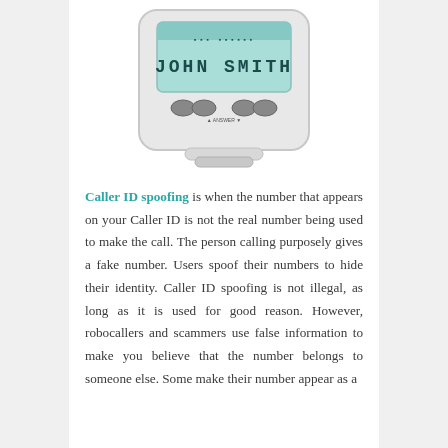[Figure (photo): A caller ID device/phone with a digital LCD screen displaying 'JOHN SMITH' in large letters, with navigation buttons below the screen, shown in white/silver color against a white background.]
Caller ID spoofing is when the number that appears on your Caller ID is not the real number being used to make the call. The person calling purposely gives a fake number. Users spoof their numbers to hide their identity. Caller ID spoofing is not illegal, as long as it is used for good reason. However, robocallers and scammers use false information to make you believe that the number belongs to someone else. Some make their number appear as a